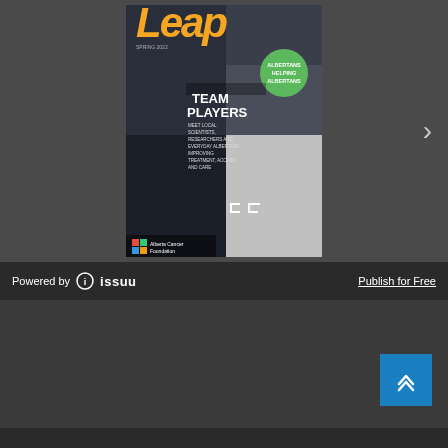[Figure (screenshot): Issuu magazine viewer showing the cover of 'Leap' magazine by Alberta Cancer Foundation. The cover features 'TEAM PLAYERS' headline with photos of various people in black and white and color, a green circular badge reading 'Albertans Helping Albertans', and decorative orange 'Leap' title text at top.]
Powered by issuu
Publish for Free